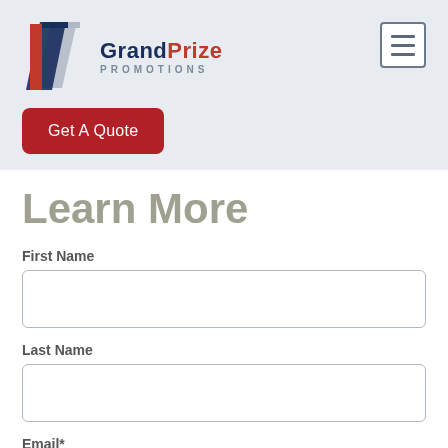[Figure (logo): Grand Prize Promotions logo with red and blue overlapping flag/ribbon icon and text 'GrandPrize PROMOTIONS']
[Figure (other): Hamburger menu icon — three horizontal lines in a square border]
Get A Quote
Learn More
First Name
Last Name
Email*